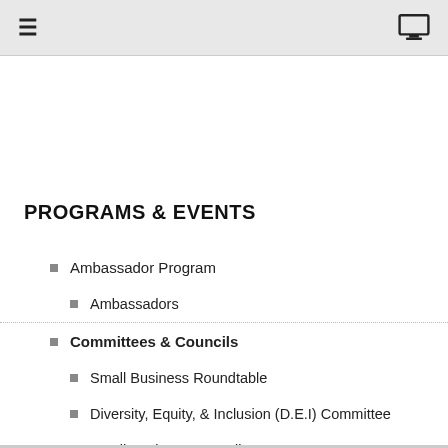≡  [monitor icon]
PROGRAMS & EVENTS
Ambassador Program
Ambassadors
Committees & Councils
Small Business Roundtable
Diversity, Equity, & Inclusion (D.E.I) Committee
Small Business Council
Restaurant Council